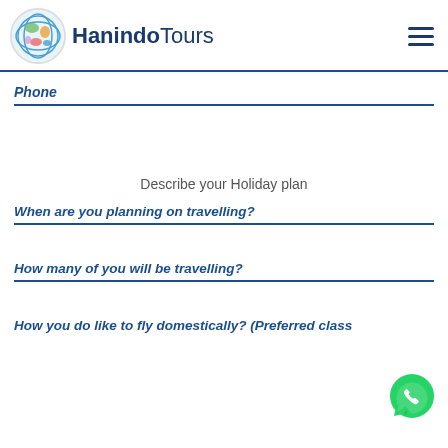HanindoTours
Phone
Describe your Holiday plan
When are you planning on travelling?
How many of you will be travelling?
How you do like to fly domestically? (Preferred class